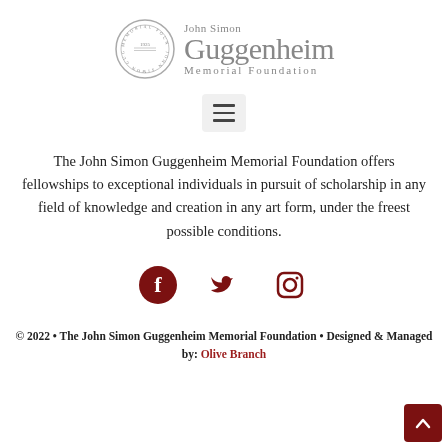[Figure (logo): John Simon Guggenheim Memorial Foundation logo with circular seal (1925) and text]
[Figure (other): Hamburger menu button (three horizontal lines) in a rounded rectangle]
The John Simon Guggenheim Memorial Foundation offers fellowships to exceptional individuals in pursuit of scholarship in any field of knowledge and creation in any art form, under the freest possible conditions.
[Figure (other): Social media icons: Facebook, Twitter, Instagram in dark red/crimson color]
© 2022 • The John Simon Guggenheim Memorial Foundation • Designed & Managed by: Olive Branch